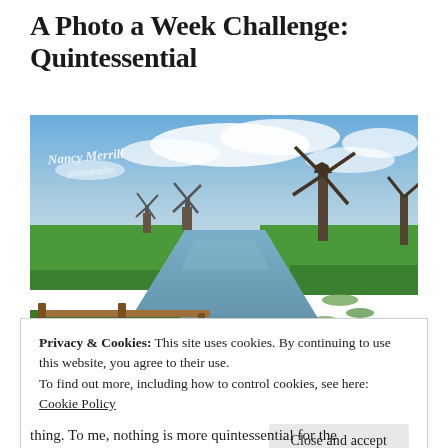A Photo a Week Challenge: Quintessential
[Figure (photo): Dutch countryside scene with windmills along a canal, green fields, wooden fence in foreground, and cloudy blue sky. Watermark reads 'Nancy Merrill Photography'.]
Privacy & Cookies: This site uses cookies. By continuing to use this website, you agree to their use.
To find out more, including how to control cookies, see here: Cookie Policy
Close and accept
thing. To me, nothing is more quintessential for the